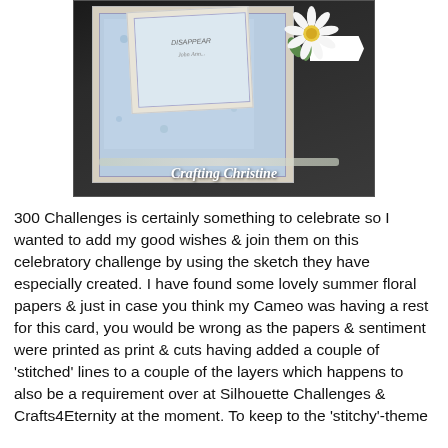[Figure (photo): A handmade greeting card with blue floral patterned paper layers, a white daisy flower embellishment with yellow center, a banner tag, layered on dark background. Watermark text 'Crafting Christine' at bottom.]
300 Challenges is certainly something to celebrate so I wanted to add my good wishes & join them on this celebratory challenge by using the sketch they have especially created. I have found some lovely summer floral papers & just in case you think my Cameo was having a rest for this card, you would be wrong as the papers & sentiment were printed as print & cuts having added a couple of 'stitched' lines to a couple of the layers which happens to also be a requirement over at Silhouette Challenges & Crafts4Eternity at the moment. To keep to the 'stitchy'-theme